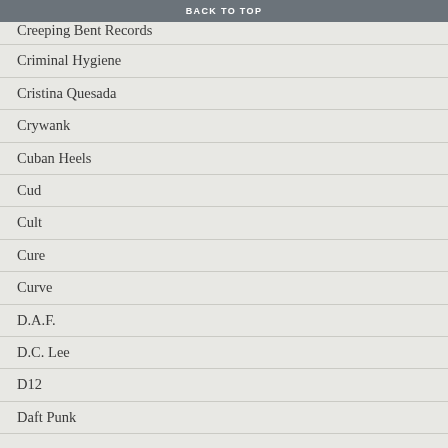BACK TO TOP
Creeping Bent Records
Criminal Hygiene
Cristina Quesada
Crywank
Cuban Heels
Cud
Cult
Cure
Curve
D.A.F.
D.C. Lee
D12
Daft Punk